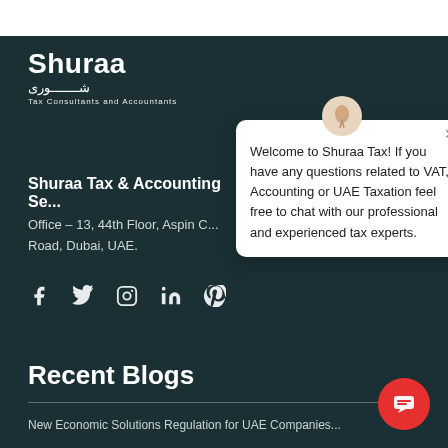[Figure (logo): Shuraa Tax Consultants and Accountants logo with Arabic text]
Shuraa Tax & Accounting Se...
Office – 13, 44th Floor, Aspin C... Road, Dubai, UAE.
[Figure (infographic): Social media icons: Facebook, Twitter, Instagram, LinkedIn, Pinterest]
[Figure (other): Chat popup: Welcome to Shuraa Tax! If you have any questions related to VAT, Accounting or UAE Taxation feel free to chat with our professional and experienced tax experts.]
Recent Blogs
New Economic Solutions Regulation for UAE Companies...